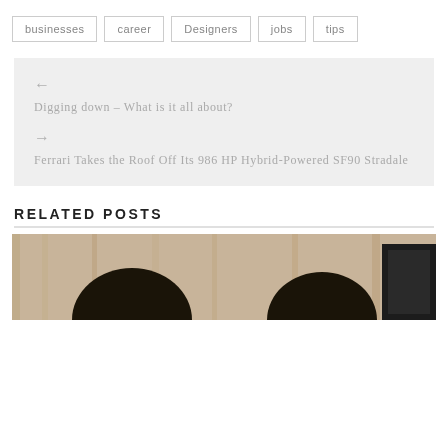businesses
career
Designers
jobs
tips
← Digging down – What is it all about?
→ Ferrari Takes the Roof Off Its 986 HP Hybrid-Powered SF90 Stradale
RELATED POSTS
[Figure (photo): Two people with dark hair seen from behind, in front of a wooden wall background.]